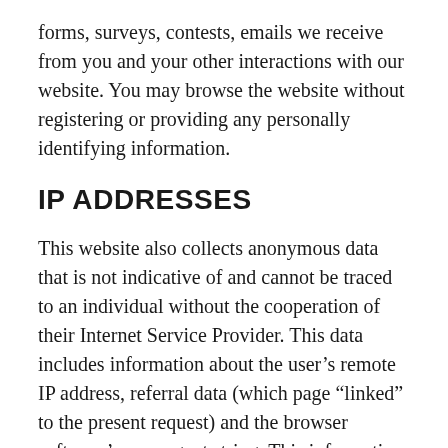forms, surveys, contests, emails we receive from you and your other interactions with our website. You may browse the website without registering or providing any personally identifying information.
IP ADDRESSES
This website also collects anonymous data that is not indicative of and cannot be traced to an individual without the cooperation of their Internet Service Provider. This data includes information about the user’s remote IP address, referral data (which page “linked” to the present request) and the browser software’s user-agent string. This information is accepted passively from the HTTP headers that are sent from the user when requesting any file from the server. Colorado State Fairgrounds does log IP addresses